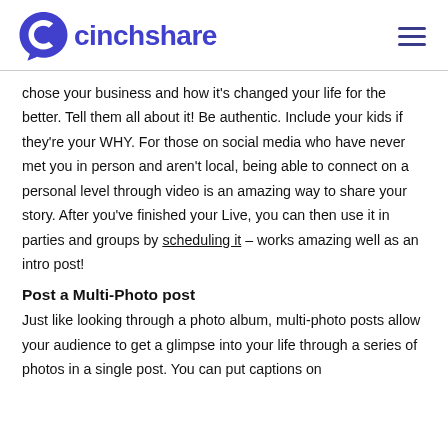cinchshare
chose your business and how it's changed your life for the better. Tell them all about it! Be authentic. Include your kids if they're your WHY. For those on social media who have never met you in person and aren't local, being able to connect on a personal level through video is an amazing way to share your story. After you've finished your Live, you can then use it in parties and groups by scheduling it – works amazing well as an intro post!
Post a Multi-Photo post
Just like looking through a photo album, multi-photo posts allow your audience to get a glimpse into your life through a series of photos in a single post. You can put captions on